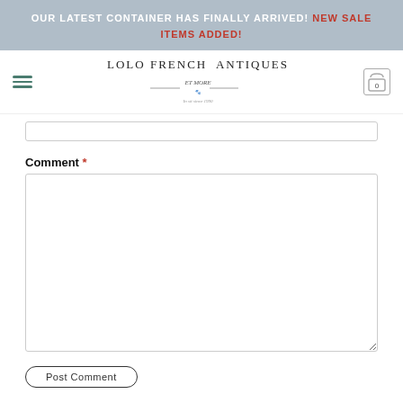OUR LATEST CONTAINER HAS FINALLY ARRIVED! NEW SALE ITEMS ADDED!
[Figure (logo): Lolo French Antiques logo with hamburger menu and cart icon]
Comment *
Comment textarea input field
Submit button